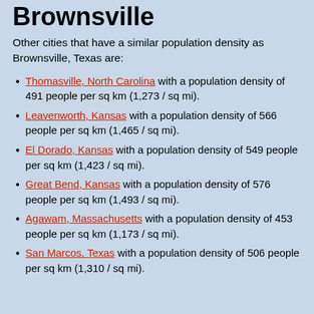Brownsville
Other cities that have a similar population density as Brownsville, Texas are:
Thomasville, North Carolina with a population density of 491 people per sq km (1,273 / sq mi).
Leavenworth, Kansas with a population density of 566 people per sq km (1,465 / sq mi).
El Dorado, Kansas with a population density of 549 people per sq km (1,423 / sq mi).
Great Bend, Kansas with a population density of 576 people per sq km (1,493 / sq mi).
Agawam, Massachusetts with a population density of 453 people per sq km (1,173 / sq mi).
San Marcos, Texas with a population density of 506 people per sq km (1,310 / sq mi).